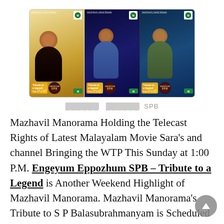[Figure (photo): Three promotional panels for 'Engeyum Eppozhum SPB – Tribute to a Legend' on Mazhavil Manorama channel, each showing a singer performing with 'Tribute to a legend' text and SPB badge overlay]
███████ ███████ SPB
Mazhavil Manorama Holding the Telecast Rights of Latest Malayalam Movie Sara's and channel Bringing the WTP This Sunday at 1:00 P.M. Engeyum Eppozhum SPB – Tribute to a Legend is Another Weekend Highlight of Mazhavil Manorama. Mazhavil Manorama's Tribute to S P Balasubrahmanyam is Scheduled on 14th